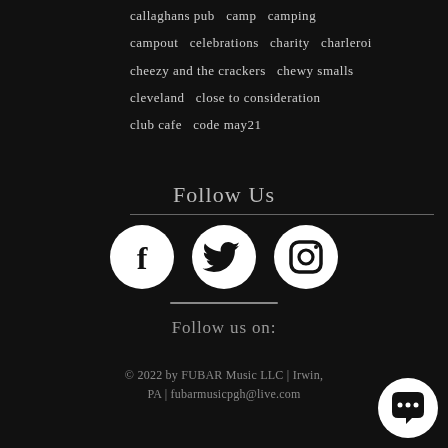callaghans pub  camp  camping
campout  celebrations  charity  charleroi
cheezy and the crackers  chewy smalls
cleveland  close to consideration
club cafe  code may21
Follow Us
[Figure (illustration): Three social media icons: Facebook (f), Twitter (bird), Instagram (camera) — white circles on dark background]
Follow us on:
© 2022 by FUBAR Music LLC | Irwin, PA | fubarmusicpgh@live.com